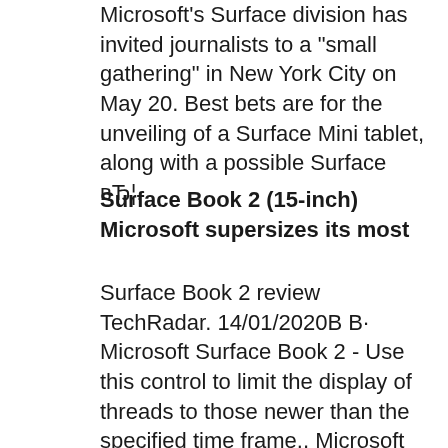Microsoft's Surface division has invited journalists to a "small gathering" in New York City on May 20. Best bets are for the unveiling of a Surface Mini tablet, along with a possible Surface вЂ¦.
Surface Book 2 (15-inch) Microsoft supersizes its most
Surface Book 2 review TechRadar. 14/01/2020В В· Microsoft Surface Book 2 - Use this control to limit the display of threads to those newer than the specified time frame., Microsoft Surface Book 2. The Surface Book detachable 2-in-1 now comes in both 13-inch and 15-inch sizes, with new Intel CPUs and higher-end Nvidia graphics hardware.